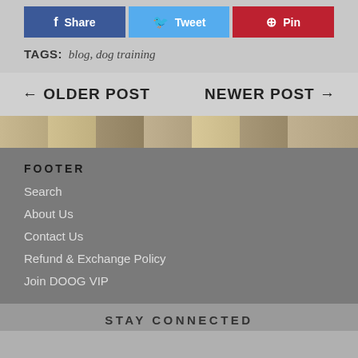[Figure (screenshot): Social share buttons: Facebook Share, Twitter Tweet, Pinterest Pin]
TAGS: blog, dog training
← OLDER POST    NEWER POST →
[Figure (photo): Partial image strip of dogs/items visible behind overlay]
FOOTER
Search
About Us
Contact Us
Refund & Exchange Policy
Join DOOG VIP
STAY CONNECTED